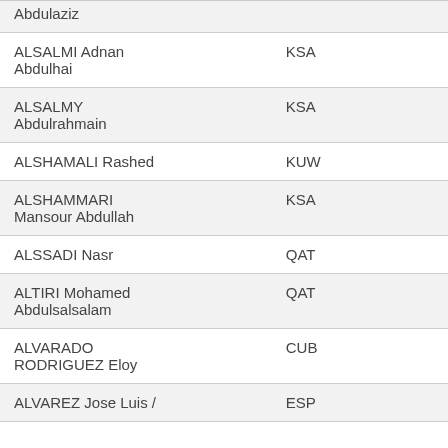| Name | Country |
| --- | --- |
| Abdulaziz |  |
| ALSALMI Adnan Abdulhai | KSA |
| ALSALMY Abdulrahmain | KSA |
| ALSHAMALI Rashed | KUW |
| ALSHAMMARI Mansour Abdullah | KSA |
| ALSSADI Nasr | QAT |
| ALTIRI Mohamed Abdulsalsalam | QAT |
| ALVARADO RODRIGUEZ Eloy | CUB |
| ALVAREZ Jose Luis / | ESP |